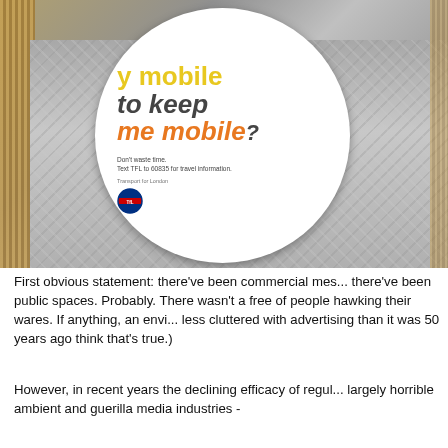[Figure (photo): A photograph of a circular TfL (Transport for London) promotional coaster or disc on a diamond-plate metal surface. The disc is white with colourful text reading '...y mobile to keep me mobile?' along with smaller text: 'Don't waste time. Text TFL to 60835 for travel information.' and the Transport for London roundel logo. A wicker/rattan surface is visible on the left edge.]
First obvious statement: there've been commercial mes... there've been public spaces. Probably. There wasn't a free of people hawking their wares. If anything, an envi... less cluttered with advertising than it was 50 years ago think that's true.)
However, in recent years the declining efficacy of regul... largely horrible ambient and guerilla media industries -